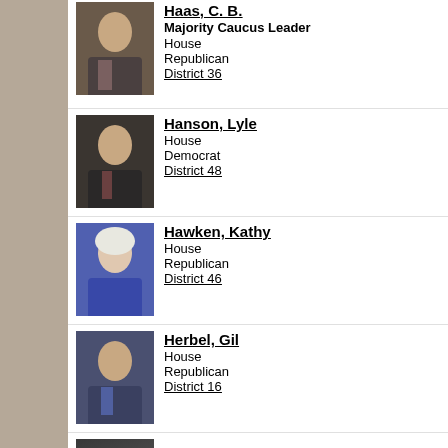Haas, C. B. — Majority Caucus Leader, House, Republican, District 36
Hanson, Lyle — House, Democrat, District 48
Hawken, Kathy — House, Republican, District 46
Herbel, Gil — House, Republican, District 16
Huether, Robert